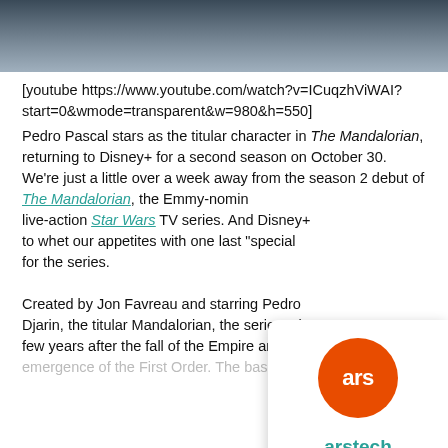[Figure (photo): Top strip showing a partial photo of a person in dark clothing, likely from The Mandalorian]
[youtube https://www.youtube.com/watch?v=ICuqzhViWAI?start=0&wmode=transparent&w=980&h=550]
Pedro Pascal stars as the titular character in The Mandalorian, returning to Disney+ for a second season on October 30.
We're just a little over a week away from the season 2 debut of The Mandalorian, the Emmy-nominated live-action Star Wars TV series. And Disney+ to whet our appetites with one last "special" for the series.

Created by Jon Favreau and starring Pedro Djarin, the titular Mandalorian, the series take few years after the fall of the Empire and before the emergence of the First Order. The basic promise is that
[Figure (logo): Ars Technica popup overlay with orange circle logo and teal underlined link text reading 'arstechnica']